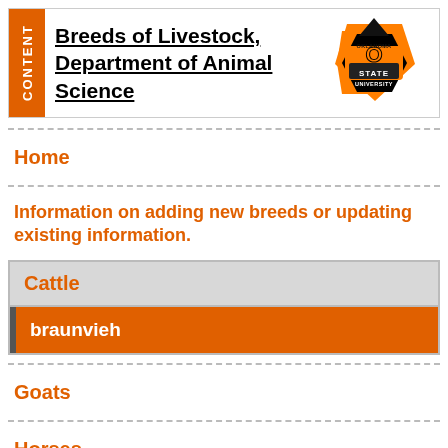CONTENT
Breeds of Livestock, Department of Animal Science
[Figure (logo): Oklahoma State University logo with orange and black O and STATE text]
Home
Information on adding new breeds or updating existing information.
Cattle
braunvieh
Goats
Horses